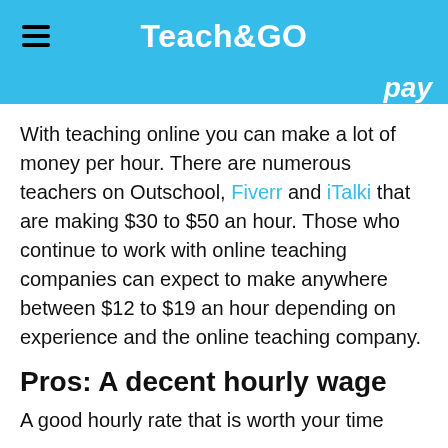Teach&GO
pay
With teaching online you can make a lot of money per hour. There are numerous teachers on Outschool, Fiverr and iTalki that are making $30 to $50 an hour. Those who continue to work with online teaching companies can expect to make anywhere between $12 to $19 an hour depending on experience and the online teaching company.
Pros: A decent hourly wage
A good hourly rate that is worth your time